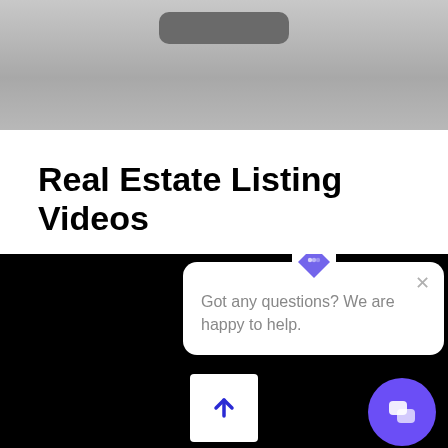[Figure (screenshot): Top portion of a screenshot showing a grey device/interface image with a dark rounded bar at the top]
Real Estate Listing Videos
[Figure (screenshot): Black video player area with a chat popup widget showing a purple diamond logo, close X button, text 'Got any questions? We are happy to help.', a white upload/share button with blue arrow, and a purple circular chat bubble button in the bottom right]